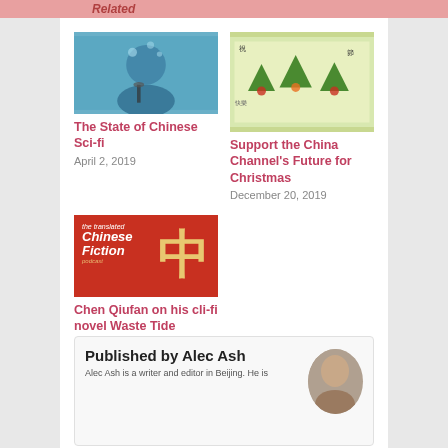Related
[Figure (photo): Photo of a person against blue background with a small figure/robot]
The State of Chinese Sci-fi
April 2, 2019
[Figure (photo): Illustrated Christmas trees with Chinese calligraphy on green/yellow background]
Support the China Channel's Future for Christmas
December 20, 2019
[Figure (photo): Red card with Chinese Fiction podcast logo and large Chinese character 中]
Chen Qiufan on his cli-fi novel Waste Tide
August 25, 2020
Published by Alec Ash
Alec Ash is a writer and editor in Beijing. He is
[Figure (photo): Portrait photo of Alec Ash]